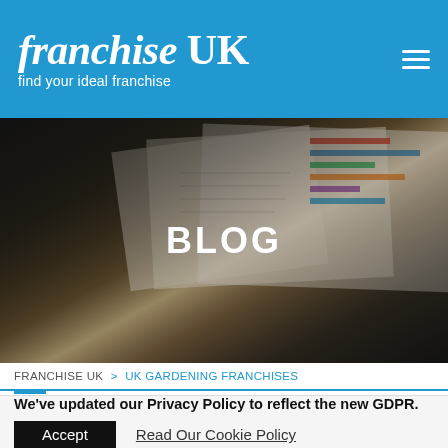franchise UK — find your ideal franchise
[Figure (photo): Hero image showing business papers and charts on a desk, with dark overlay. 'BLOG' text centered over image.]
BLOG
FRANCHISE UK > UK GARDENING FRANCHISES
We've updated our Privacy Policy to reflect the new GDPR.
Accept   Read Our Cookie Policy